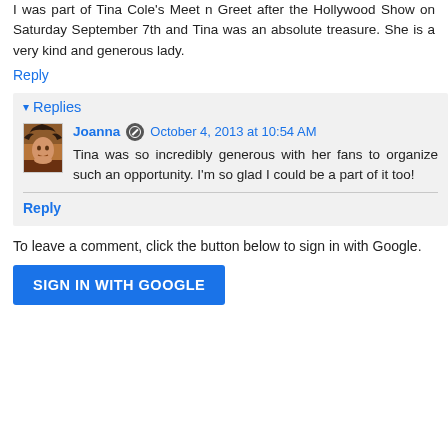I was part of Tina Cole's Meet n Greet after the Hollywood Show on Saturday September 7th and Tina was an absolute treasure. She is a very kind and generous lady.
Reply
Replies
Joanna  October 4, 2013 at 10:54 AM
Tina was so incredibly generous with her fans to organize such an opportunity. I'm so glad I could be a part of it too!
Reply
To leave a comment, click the button below to sign in with Google.
SIGN IN WITH GOOGLE